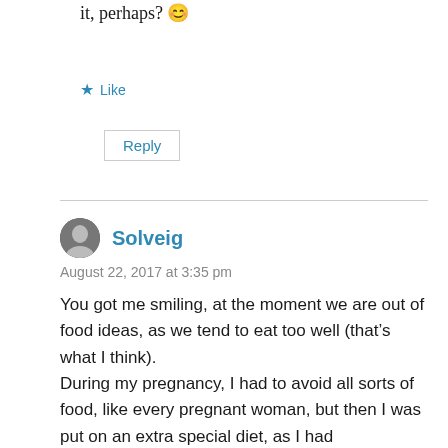it, perhaps? 😊
★ Like
Reply
Solveig
August 22, 2017 at 3:35 pm
You got me smiling, at the moment we are out of food ideas, as we tend to eat too well (that's what I think).
During my pregnancy, I had to avoid all sorts of food, like every pregnant woman, but then I was put on an extra special diet, as I had